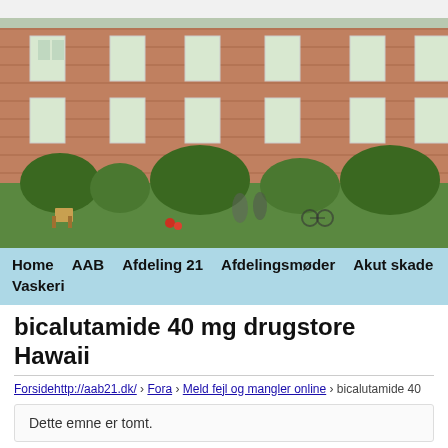[Figure (photo): Exterior photo of a red brick apartment building with white windows, green garden area with trees, bushes and flowers in front, wooden chairs visible, blurred background.]
Home  AAB  Afdeling 21  Afdelingsmøder  Akut skade  Best  Vaskeri
bicalutamide 40 mg drugstore Hawaii
Forsidehttp://aab21.dk/ › Fora › Meld fejl og mangler online › bicalutamide 40
Dette emne er tomt.